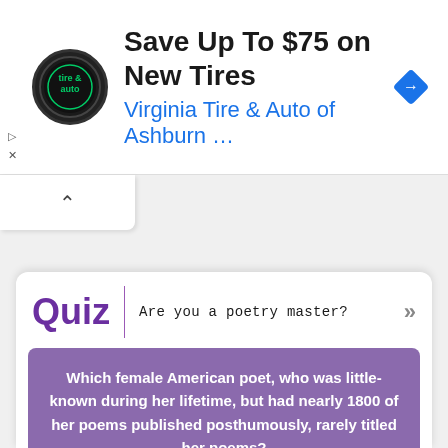[Figure (screenshot): Advertisement banner for Virginia Tire & Auto of Ashburn with logo, headline 'Save Up To $75 on New Tires', subtext 'Virginia Tire & Auto of Ashburn ...', and a blue navigation arrow diamond icon]
Are you a poetry master?
Quiz
Which female American poet, who was little-known during her lifetime, but had nearly 1800 of her poems published posthumously, rarely titled her poems?
A. Sara Teasdale